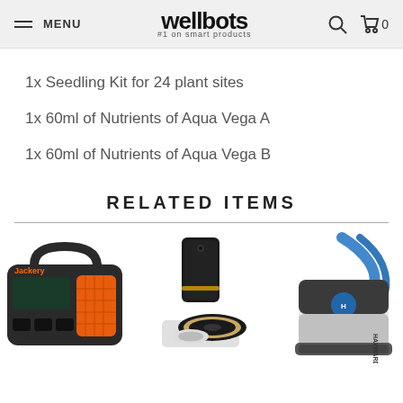MENU | wellbots #1 on smart products | search | cart 0
1x Seedling Kit for 24 plant sites
1x 60ml of Nutrients of Aqua Vega A
1x 60ml of Nutrients of Aqua Vega B
RELATED ITEMS
[Figure (photo): Three related smart products: Jackery portable power station, iRobot Roomba robot vacuum with clean base, and Hayward robotic pool cleaner]